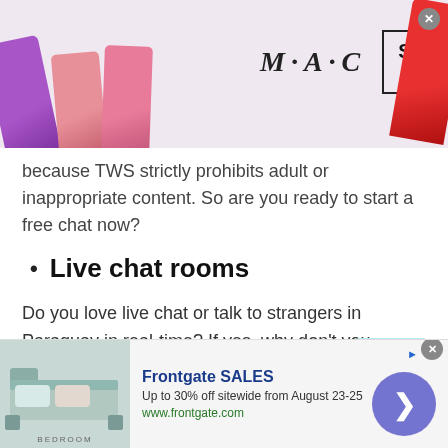[Figure (photo): MAC cosmetics advertisement banner showing colorful lipsticks on left and red lipstick on right, MAC logo in italic, and a SHOP NOW box with border. Close button in top-right corner.]
because TWS strictly prohibits adult or inappropriate content. So are you ready to start a free chat now?
Live chat rooms
Do you love live chat or talk to strangers in Paraguay in real-time? If yes, why don't you choose TWS live chat? It is a place where all you have real people, not bots. So, if you are wondering whether to rely on live chat or not then stop thinking like that.
[Figure (other): Frontgate SALES advertisement: bedroom image on left, 'Frontgate SALES' in blue bold text, 'Up to 30% off sitewide from August 23-25', 'www.frontgate.com' in green. Blue circle arrow button on right. Close and info buttons top-right.]